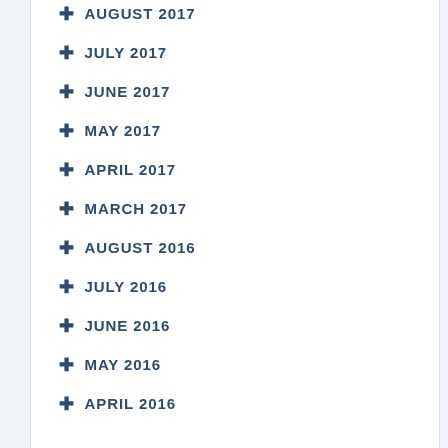+ AUGUST 2017
+ JULY 2017
+ JUNE 2017
+ MAY 2017
+ APRIL 2017
+ MARCH 2017
+ AUGUST 2016
+ JULY 2016
+ JUNE 2016
+ MAY 2016
+ APRIL 2016